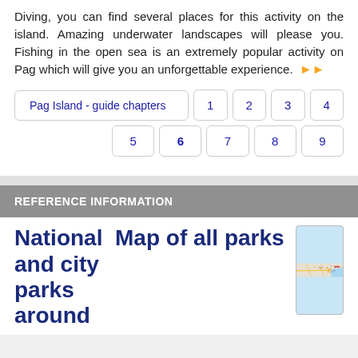Diving, you can find several places for this activity on the island. Amazing underwater landscapes will please you. Fishing in the open sea is an extremely popular activity on Pag which will give you an unforgettable experience. ▶▶
Pag Island - guide chapters | 1 | 2 | 3 | 4
5 | 6 | 7 | 8 | 9
REFERENCE INFORMATION
National Map of all parks and city parks around
[Figure (map): Map showing parks area around Gràcia with road C-31, markers indicating park locations, and blue water body on the right]